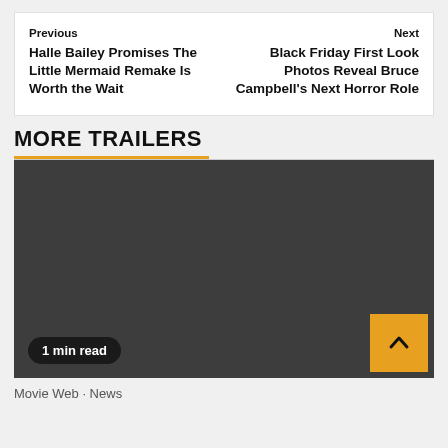Previous
Halle Bailey Promises The Little Mermaid Remake Is Worth the Wait
Next
Black Friday First Look Photos Reveal Bruce Campbell's Next Horror Role
MORE TRAILERS
[Figure (screenshot): Dark gray video thumbnail placeholder with '1 min read' badge at bottom left and a gold scroll-to-top button at bottom right]
Movie Web · News